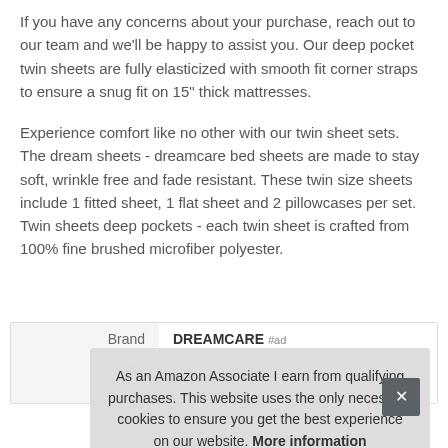If you have any concerns about your purchase, reach out to our team and we'll be happy to assist you. Our deep pocket twin sheets are fully elasticized with smooth fit corner straps to ensure a snug fit on 15" thick mattresses.
Experience comfort like no other with our twin sheet sets. The dream sheets - dreamcare bed sheets are made to stay soft, wrinkle free and fade resistant. These twin size sheets include 1 fitted sheet, 1 flat sheet and 2 pillowcases per set. Twin sheets deep pockets - each twin sheet is crafted from 100% fine brushed microfiber polyester.
|  |  |
| --- | --- |
| Brand | DREAMCARE #ad |
| Ma |  |
As an Amazon Associate I earn from qualifying purchases. This website uses the only necessary cookies to ensure you get the best experience on our website. More information